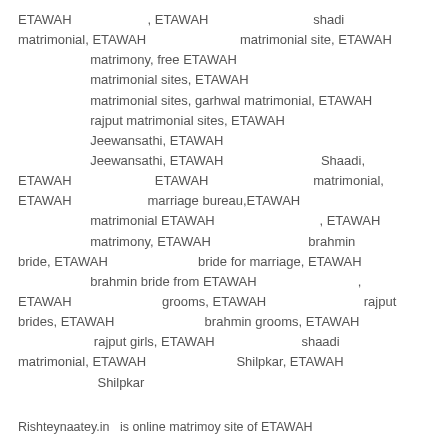ETAWAH , ETAWAH shadi matrimonial, ETAWAH matrimonial site, ETAWAH matrimony, free ETAWAH matrimonial sites, ETAWAH matrimonial sites, garhwal matrimonial, ETAWAH rajput matrimonial sites, ETAWAH Jeewansathi, ETAWAH Jeewansathi, ETAWAH Shaadi, ETAWAH ETAWAH matrimonial, ETAWAH marriage bureau,ETAWAH matrimonial ETAWAH , ETAWAH matrimony, ETAWAH brahmin bride, ETAWAH bride for marriage, ETAWAH brahmin bride from ETAWAH , ETAWAH grooms, ETAWAH rajput brides, ETAWAH brahmin grooms, ETAWAH rajput girls, ETAWAH shaadi matrimonial, ETAWAH Shilpkar, ETAWAH Shilpkar
Rishteynaatey.in  is online matrimoy site of ETAWAH